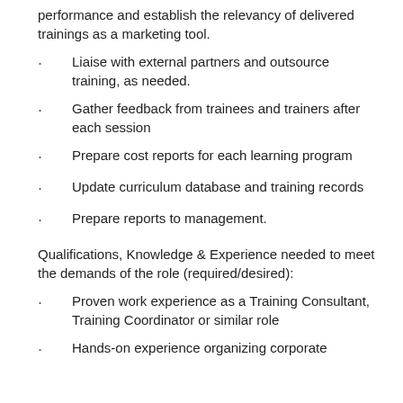performance and establish the relevancy of delivered trainings as a marketing tool.
Liaise with external partners and outsource training, as needed.
Gather feedback from trainees and trainers after each session
Prepare cost reports for each learning program
Update curriculum database and training records
Prepare reports to management.
Qualifications, Knowledge & Experience needed to meet the demands of the role (required/desired):
Proven work experience as a Training Consultant, Training Coordinator or similar role
Hands-on experience organizing corporate